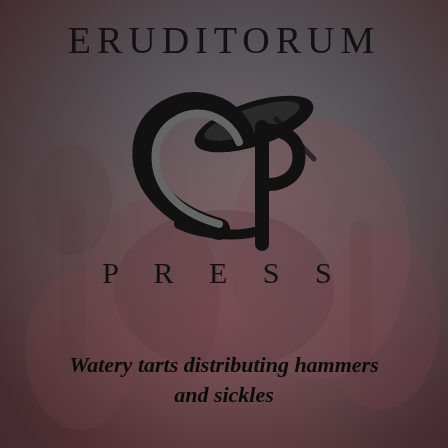[Figure (logo): Eruditorum Press logo: stylized EP monogram with swooping calligraphic letterforms in black, with the text ERUDITORUM above and PRESS below, on a muted dark reddish-brown background with faint figurative imagery]
Watery tarts distributing hammers and sickles